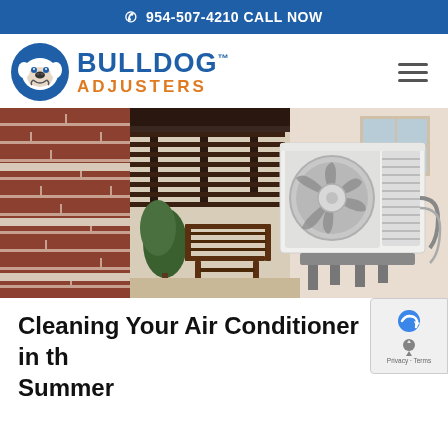954-507-4210 CALL NOW
[Figure (logo): Bulldog Adjusters logo with blue bulldog head in circle and blue/orange text]
[Figure (photo): Outdoor air conditioning unit mounted on wall bracket outside a modern building with brick facade and wooden chair visible]
Cleaning Your Air Conditioner in the Summer